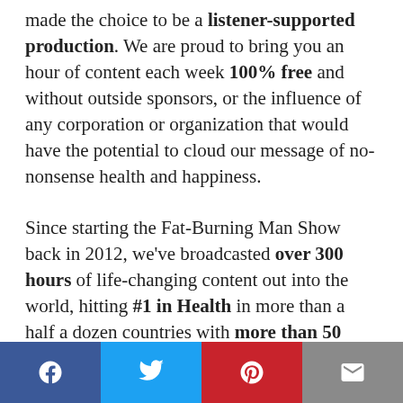made the choice to be a listener-supported production. We are proud to bring you an hour of content each week 100% free and without outside sponsors, or the influence of any corporation or organization that would have the potential to cloud our message of no-nonsense health and happiness.
Since starting the Fat-Burning Man Show back in 2012, we've broadcasted over 300 hours of life-changing content out into the world, hitting #1 in Health in more than a half a dozen countries with more than 50 million listens.